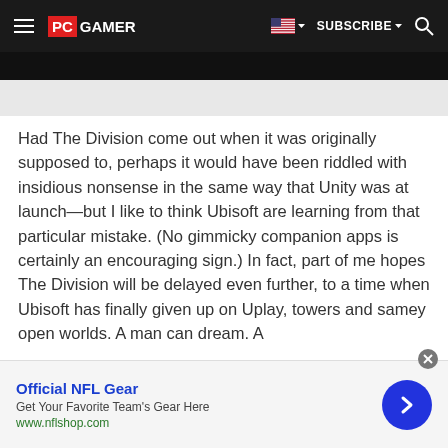PC GAMER | SUBSCRIBE
Had The Division come out when it was originally supposed to, perhaps it would have been riddled with insidious nonsense in the same way that Unity was at launch—but I like to think Ubisoft are learning from that particular mistake. (No gimmicky companion apps is certainly an encouraging sign.) In fact, part of me hopes The Division will be delayed even further, to a time when Ubisoft has finally given up on Uplay, towers and samey open worlds. A man can dream. A
[Figure (infographic): Advertisement banner: Official NFL Gear - Get Your Favorite Team's Gear Here - www.nflshop.com with a blue circular arrow button on right and close button at top-right]